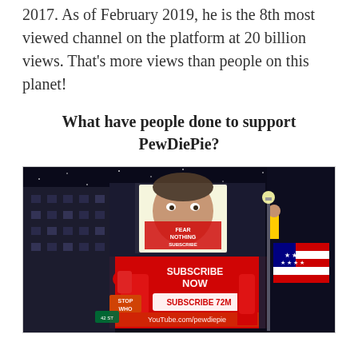2017. As of February 2019, he is the 8th most viewed channel on the platform at 20 billion views. That’s more views than people on this planet!
What have people done to support PewDiePie?
[Figure (photo): A Times Square-style billboard at night advertising PewDiePie's YouTube channel. The billboard shows a large red LED display with text 'SUBSCRIBE NOW', 'SUBSCRIBE 72M', 'YouTube.com/pewdiepie', and PewDiePie's logo (a red hand making a gesture). Above is a screen showing PewDiePie's face with text. The scene shows city buildings at night with an American flag visible on the right.]
While supporters of T-Series tended to be